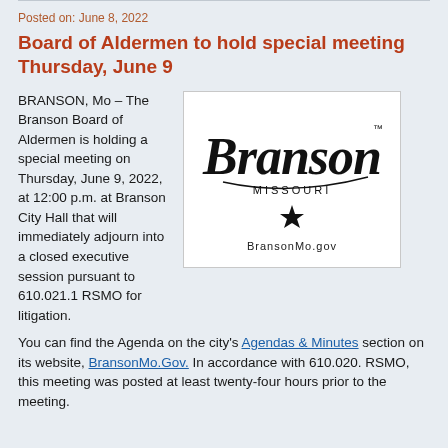NEWS
Posted on: June 8, 2022
Board of Aldermen to hold special meeting Thursday, June 9
BRANSON, Mo – The Branson Board of Aldermen is holding a special meeting on Thursday, June 9, 2022, at 12:00 p.m. at Branson City Hall that will immediately adjourn into a closed executive session pursuant to 610.021.1 RSMO for litigation.
[Figure (logo): Branson Missouri logo with cursive Branson text, MISSOURI below, a star, and BransonMo.gov beneath]
You can find the Agenda on the city's Agendas & Minutes section on its website, BransonMo.Gov. In accordance with 610.020. RSMO, this meeting was posted at least twenty-four hours prior to the meeting.